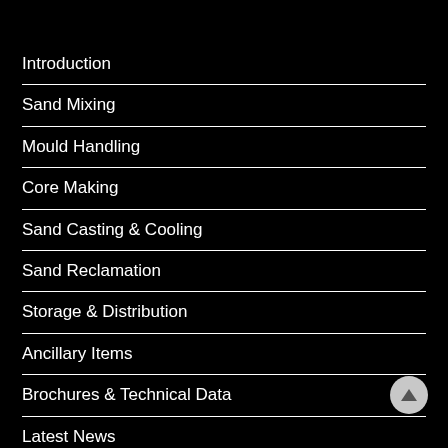Introduction
Sand Mixing
Mould Handling
Core Making
Sand Casting & Cooling
Sand Reclamation
Storage & Distribution
Ancillary Items
Brochures & Technical Data
Latest News
Videos